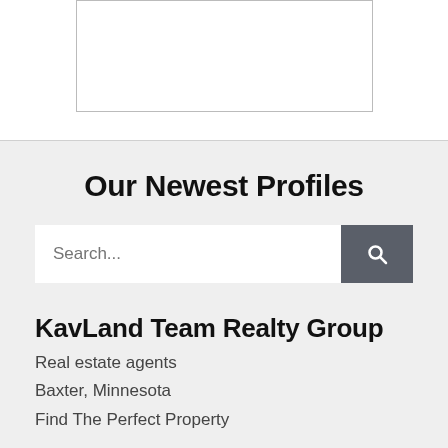[Figure (other): White rectangle image placeholder with a thin border]
Our Newest Profiles
[Figure (other): Search bar with text input placeholder 'Search...' and a dark grey search button with magnifying glass icon]
KavLand Team Realty Group
Real estate agents
Baxter, Minnesota
Find The Perfect Property